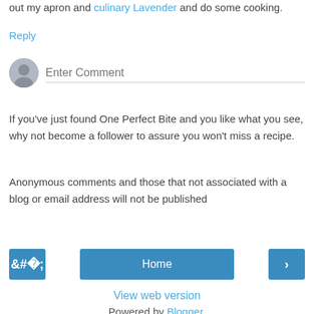out my apron and culinary Lavender and do some cooking.
Reply
Enter Comment
If you've just found One Perfect Bite and you like what you see, why not become a follower to assure you won't miss a recipe.
Anonymous comments and those that not associated with a blog or email address will not be published
< Home >
View web version
Powered by Blogger.